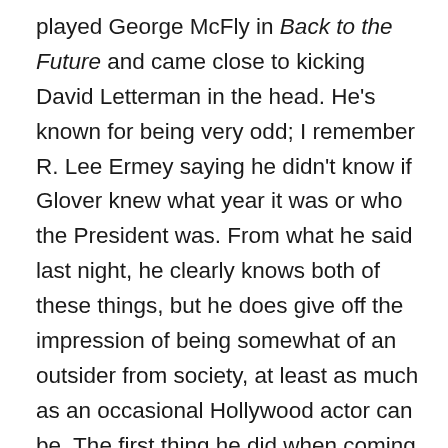played George McFly in Back to the Future and came close to kicking David Letterman in the head. He's known for being very odd; I remember R. Lee Ermey saying he didn't know if Glover knew what year it was or who the President was. From what he said last night, he clearly knows both of these things, but he does give off the impression of being somewhat of an outsider from society, at least as much as an occasional Hollywood actor can be. The first thing he did when coming on stage was a slideshow of parts of old books that he had rearranged and imbued with his own absurd content. One of them I recognized as The Water-Babies, a popular nineteenth-century children's book that nobody reads anymore, which Glover turned into a story of sex and rebirth. He then showed his film What Is It?, originally intended as a short but turned into a feature. Honestly, I think it probably would